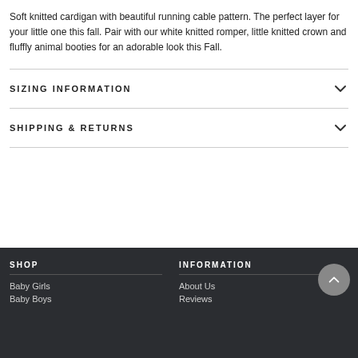Soft knitted cardigan with beautiful running cable pattern. The perfect layer for your little one this fall. Pair with our white knitted romper, little knitted crown and fluffly animal booties for an adorable look this Fall.
SIZING INFORMATION
SHIPPING & RETURNS
SHOP
Baby Girls
Baby Boys
INFORMATION
About Us
Reviews